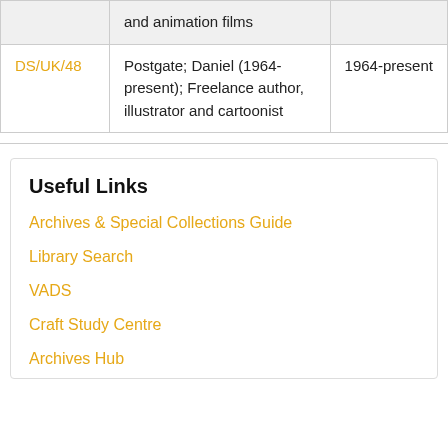|  |  |  |
| --- | --- | --- |
|  | and animation films |  |
| DS/UK/48 | Postgate; Daniel (1964-present); Freelance author, illustrator and cartoonist | 1964-present |
Useful Links
Archives & Special Collections Guide
Library Search
VADS
Craft Study Centre
Archives Hub